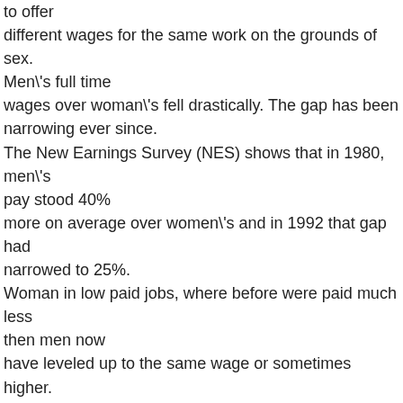to offer different wages for the same work on the grounds of sex. Men\'s full time wages over woman\'s fell drastically. The gap has been narrowing ever since. The New Earnings Survey (NES) shows that in 1980, men\'s pay stood 40% more on average over women\'s and in 1992 that gap had narrowed to 25%. Woman in low paid jobs, where before were paid much less then men now have leveled up to the same wage or sometimes higher. However in high flying jobs there still is a large wage difference. The NES showed that woman\'s